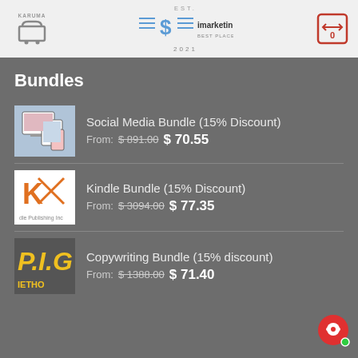[Figure (logo): imarketing.courses website header with dollar sign logo, EST. 2021, BEST PLACE TO LEARN! tagline. Left side shows Karuna logo with shopping cart. Right side shows shopping cart badge with 0.]
Bundles
[Figure (photo): Social Media Bundle product thumbnail showing devices with social media content]
Social Media Bundle (15% Discount)
From: $891.00 $70.55
[Figure (logo): KP - Kindle Publishing Inc logo]
Kindle Bundle (15% Discount)
From: $3094.00 $77.35
[Figure (logo): PIG Method logo in yellow text]
Copywriting Bundle (15% discount)
From: $1388.00 $71.40